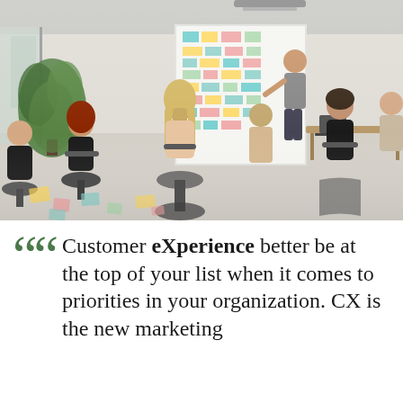[Figure (photo): Office meeting room scene: a person stands at a large whiteboard covered in colorful sticky notes and diagrams, presenting to a group of six people seated in modern chairs arranged in a semicircle. A large green plant is visible on the left side. The room has light gray floors and walls with glass partitions.]
““ Customer eXperience better be at the top of your list when it comes to priorities in your organization. CX is the new marketing